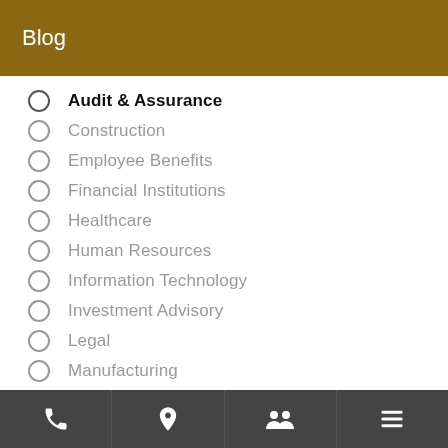Blog
Audit & Assurance
Construction
Employee Benefits
Financial Institutions
Healthcare
Human Resources
Information Technology
Investment Advisory
Legal
Manufacturing
Not For Profit
Navigation icons: phone, location, people, menu